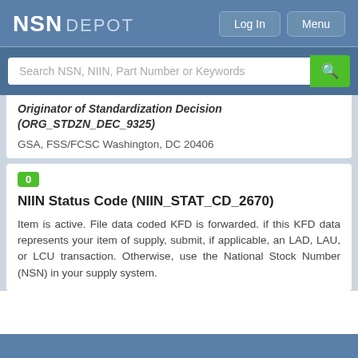[Figure (screenshot): NSN DEPOT website header with logo, Log In and Menu buttons]
[Figure (screenshot): Search bar with placeholder text 'Search NSN, NIIN, Part Number or Keywords' and green search button]
Originator of Standardization Decision (ORG_STDZN_DEC_9325)
GSA, FSS/FCSC Washington, DC 20406
0
NIIN Status Code (NIIN_STAT_CD_2670)
Item is active. File data coded KFD is forwarded. if this KFD data represents your item of supply, submit, if applicable, an LAD, LAU, or LCU transaction. Otherwise, use the National Stock Number (NSN) in your supply system.